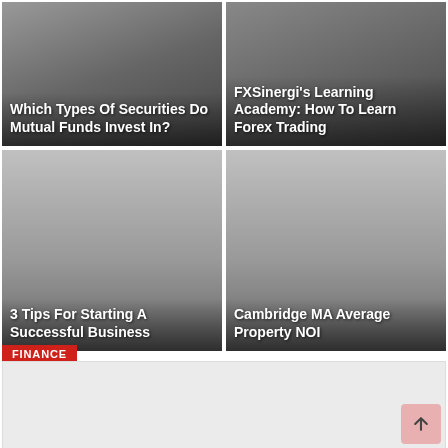[Figure (photo): Article card with dark overlay showing laptop/finance image with title overlay]
Which Types Of Securities Do Mutual Funds Invest In?
[Figure (photo): Article card with dark overlay for FXSinergi learning academy article]
FXSinergi's Learning Academy: How To Learn Forex Trading
[Figure (photo): Article card with gradient grey background for business tips article]
3 Tips For Starting A Successful Business
[Figure (photo): Article card with gradient grey background for Cambridge MA property article]
Cambridge MA Average Property NOI
FINANCE
[Figure (photo): Finance section content area with light grey background]